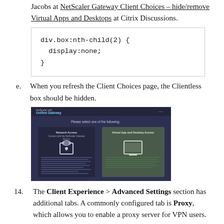Jacobs at NetScaler Gateway Client Choices – hide/remove Virtual Apps and Desktops at Citrix Discussions.
div.box:nth-child(2) {
  display:none;
}
e. When you refresh the Client Choices page, the Clientless box should be hidden.
[Figure (screenshot): Screenshot of NetScaler/Unified Gateway client choices page showing two boxes: Network Access (Connect with the NetScaler Gateway Plug-in) with a lock icon, and Virtual App and Desktop Access with a monitor icon. The Clientless box is hidden.]
14. The Client Experience > Advanced Settings section has additional tabs. A commonly configured tab is Proxy, which allows you to enable a proxy server for VPN users.